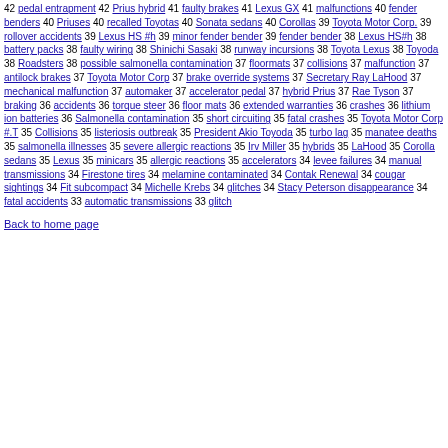42 pedal entrapment 42 Prius hybrid 41 faulty brakes 41 Lexus GX 41 malfunctions 40 fender benders 40 Priuses 40 recalled Toyotas 40 Sonata sedans 40 Corollas 39 Toyota Motor Corp. 39 rollover accidents 39 Lexus HS #h 39 minor fender bender 39 fender bender 38 Lexus HS#h 38 battery packs 38 faulty wiring 38 Shinichi Sasaki 38 runway incursions 38 Toyota Lexus 38 Toyoda 38 Roadsters 38 possible salmonella contamination 37 floormats 37 collisions 37 malfunction 37 antilock brakes 37 Toyota Motor Corp 37 brake override systems 37 Secretary Ray LaHood 37 mechanical malfunction 37 automaker 37 accelerator pedal 37 hybrid Prius 37 Rae Tyson 37 braking 36 accidents 36 torque steer 36 floor mats 36 extended warranties 36 crashes 36 lithium ion batteries 36 Salmonella contamination 35 short circuiting 35 fatal crashes 35 Toyota Motor Corp #.T 35 Collisions 35 listeriosis outbreak 35 President Akio Toyoda 35 turbo lag 35 manatee deaths 35 salmonella illnesses 35 severe allergic reactions 35 Irv Miller 35 hybrids 35 LaHood 35 Corolla sedans 35 Lexus 35 minicars 35 allergic reactions 35 accelerators 34 levee failures 34 manual transmissions 34 Firestone tires 34 melamine contaminated 34 Contak Renewal 34 cougar sightings 34 Fit subcompact 34 Michelle Krebs 34 glitches 34 Stacy Peterson disappearance 34 fatal accidents 33 automatic transmissions 33 glitch
Back to home page